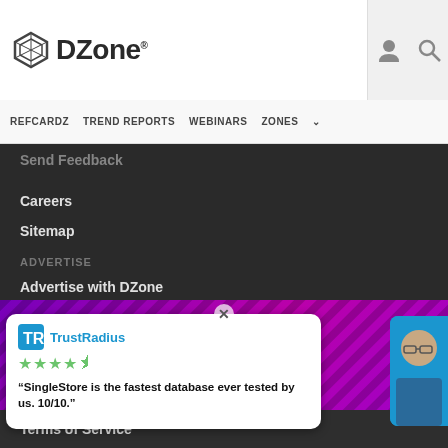DZone
REFCARDZ  TREND REPORTS  WEBINARS  ZONES
Send Feedback
Careers
Sitemap
ADVERTISE
Advertise with DZone
CONTRIBUTE ON DZONE
Article Submission Guidelines
MVB Program
Become a Contributor
Terms of Service
[Figure (screenshot): TrustRadius advertisement overlay with quote: "SingleStore is the fastest database ever tested by us. 10/10." with star rating and person avatar]